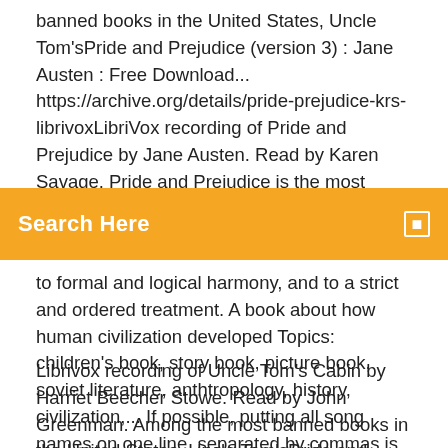banned books in the United States, Uncle Tom'sPride and Prejudice (version 3) : Jane Austen : Free Download... https://archive.org/details/pride-prejudice-krs-librivoxLibriVox recording of Pride and Prejudice by Jane Austen. Read by Karen Savage. Pride and Prejudice is the most famous of Jane Austen's novels, and itsDownload & Streaming : cllau Favorites :
Search Here
to formal and logical harmony, and to a strict and ordered treatment. A book about how human civilization developed Topics: children's book, story book, picture book, soviet literature, anthtropology, history, civilization,... If possible, putting all song names on one line, separated by commas is wonderful.
Librivox recording of Uncle Tom's Cabin by Harriet Beecher Stowe. Read by John Greenman. Among the most banned books in the United States, Uncle Tom'sPride and Prejudice (version 3) : Jane Austen : Free Download...